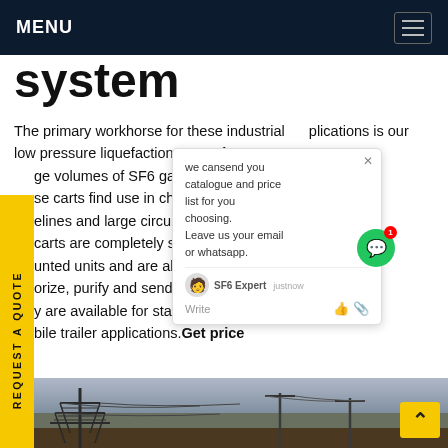MENU
system
The primary workhorse for these industrial applications is our low pressure liquefaction carts for large volumes of SF6 gas, (greater than...). These carts find use in chambers, gas pipelines and large circuit breakers. The carts are completely self-contained, truck-mounted units and are able to fill, liquefy, vaporize, purify and send gas back through a pressure. They are available for stationary service or for mobile trailer applications. Get price
[Figure (photo): Photograph of industrial power line infrastructure with metal tower and cables against grey sky]
we cansend you catalogue and price list for you choosing. Leave us your email or whatsapp.